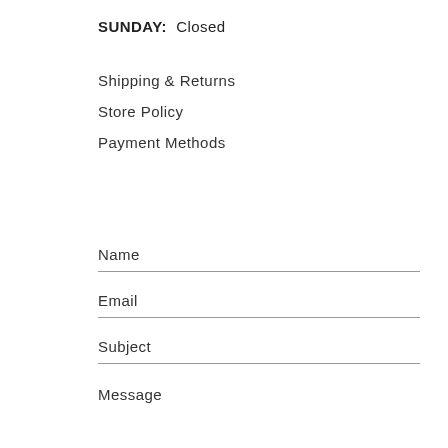SUNDAY:  Closed
Shipping & Returns
Store Policy
Payment Methods
Name
Email
Subject
Message